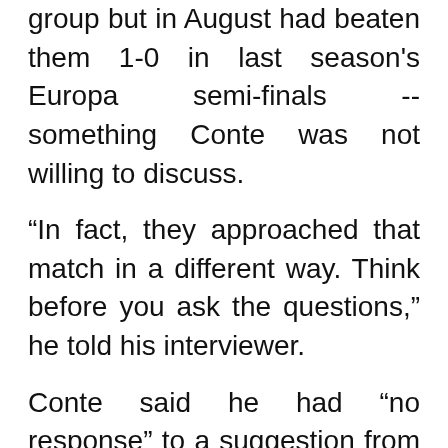group but in August had beaten them 1-0 in last season's Europa semi-finals -- something Conte was not willing to discuss.
“In fact, they approached that match in a different way. Think before you ask the questions,” he told his interviewer.
Conte said he had “no response” to a suggestion from former AC Milan, Juventus, Real Madrid and England coach Capello that Inter lacked determination.
He also gave short shrift to Capello’s suggestion that Inter did not have a backup plan.